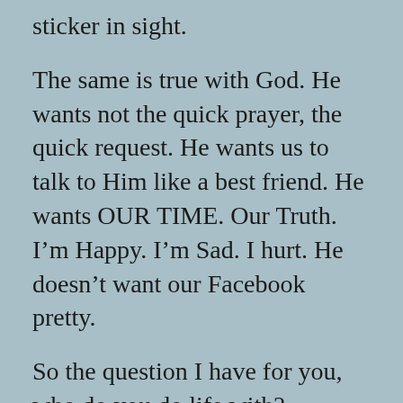sticker in sight.
The same is true with God. He wants not the quick prayer, the quick request. He wants us to talk to Him like a best friend. He wants OUR TIME. Our Truth. I'm Happy. I'm Sad. I hurt. He doesn't want our Facebook pretty.
So the question I have for you, who do you do life with? Hundreds of friends or those who you share deep personal connections with? Do you give your friends or God the time they deserve or are you just serving up a LIKE or a